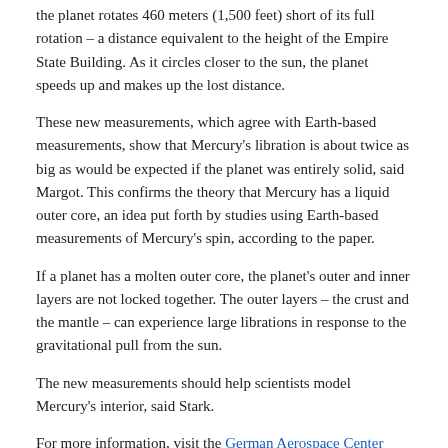the planet rotates 460 meters (1,500 feet) short of its full rotation – a distance equivalent to the height of the Empire State Building. As it circles closer to the sun, the planet speeds up and makes up the lost distance.
These new measurements, which agree with Earth-based measurements, show that Mercury's libration is about twice as big as would be expected if the planet was entirely solid, said Margot. This confirms the theory that Mercury has a liquid outer core, an idea put forth by studies using Earth-based measurements of Mercury's spin, according to the paper.
If a planet has a molten outer core, the planet's outer and inner layers are not locked together. The outer layers – the crust and the mantle – can experience large librations in response to the gravitational pull from the sun.
The new measurements should help scientists model Mercury's interior, said Stark.
For more information, visit the German Aerospace Center website.
— Leigh Cooper is a science writing intern at AGU.
Posted in: Geophysical Research Letters, Uncategorized No